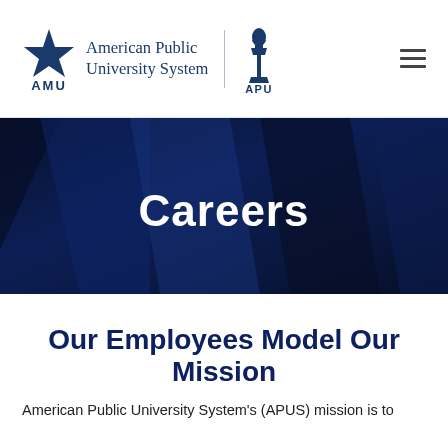American Public University System | AMU | APU
[Figure (screenshot): Hero banner with dark navy blue diagonal stripe pattern background and white bold text reading 'Careers' centered in the image]
Our Employees Model Our Mission
American Public University System's (APUS) mission is to